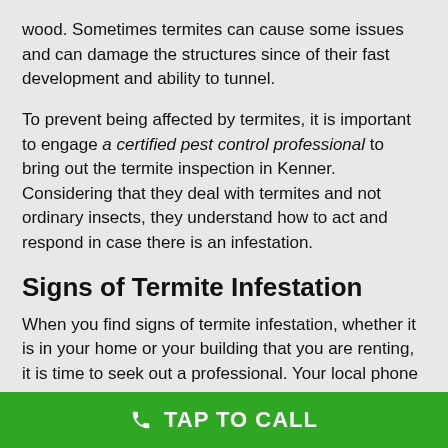wood. Sometimes termites can cause some issues and can damage the structures since of their fast development and ability to tunnel.
To prevent being affected by termites, it is important to engage a certified pest control professional to bring out the termite inspection in Kenner. Considering that they deal with termites and not ordinary insects, they understand how to act and respond in case there is an infestation.
Signs of Termite Infestation
When you find signs of termite infestation, whether it is in your home or your building that you are renting, it is time to seek out a professional. Your local phone directory will be a fantastic place to begin looking for a pest control inspector in Kenner. After you have found a
TAP TO CALL